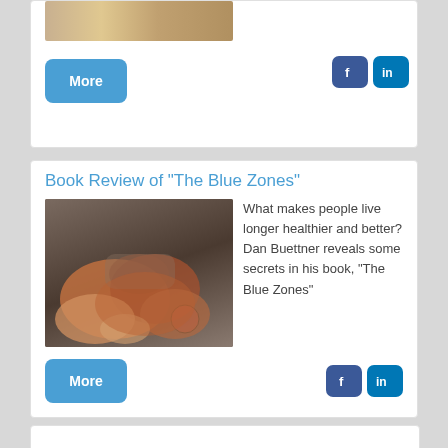[Figure (photo): Top card photo of a person with blonde hair near a laptop on a wooden floor (partially visible, cropped at top)]
More
[Figure (illustration): Facebook icon button (blue square with white F logo)]
[Figure (illustration): LinkedIn icon button (blue square with white 'in' logo)]
Book Review of "The Blue Zones"
[Figure (photo): Photo of hands being held together, an elderly person's hands and a younger person's hands clasped together. The younger person wears a colorful watch.]
What makes people live longer healthier and better? Dan Buettner reveals some secrets in his book, "The Blue Zones"
More
[Figure (illustration): Facebook icon button (blue square with white F logo)]
[Figure (illustration): LinkedIn icon button (blue square with white 'in' logo)]